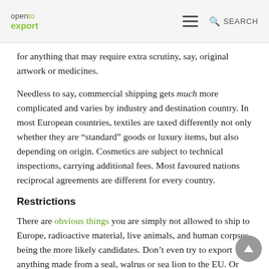open to export | SEARCH
for anything that may require extra scrutiny, say, original artwork or medicines.
Needless to say, commercial shipping gets much more complicated and varies by industry and destination country. In most European countries, textiles are taxed differently not only whether they are “standard” goods or luxury items, but also depending on origin. Cosmetics are subject to technical inspections, carrying additional fees. Most favoured nations reciprocal agreements are different for every country.
Restrictions
There are obvious things you are simply not allowed to ship to Europe, radioactive material, live animals, and human corpses being the more likely candidates. Don’t even try to export anything made from a seal, walrus or sea lion to the EU. Or anything made from Liberian wood. EU’s food safety laws are often more stringent than in the U.S., and certain ingredients are banned outright. Some things